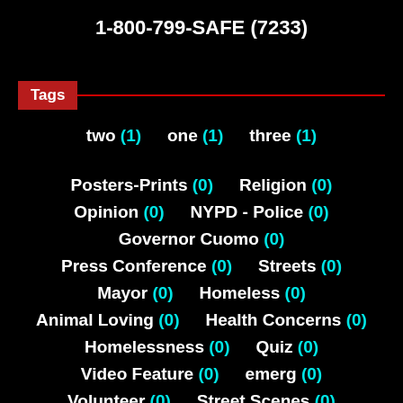1-800-799-SAFE (7233)
Tags
two (1)   one (1)   three (1)
Posters-Prints (0)   Religion (0)
Opinion (0)   NYPD - Police (0)
Governor Cuomo (0)
Press Conference (0)   Streets (0)
Mayor (0)   Homeless (0)
Animal Loving (0)   Health Concerns (0)
Homelessness (0)   Quiz (0)
Video Feature (0)   emerg (0)
Volunteer (0)   Street Scenes (0)